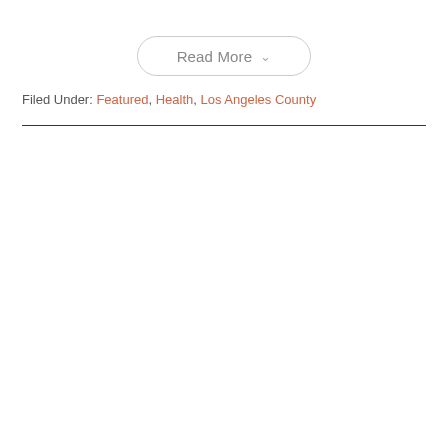Read More
Filed Under: Featured, Health, Los Angeles County